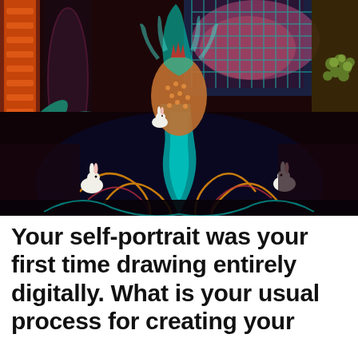[Figure (illustration): A richly colored artwork featuring a central fantastical figure with a dramatic gown covered in intricate patterns of dark blue, red and orange swirls. The figure has an elaborate headdress emitting teal/turquoise energy. White rabbits are scattered around the base. The background contains tropical leaves, patterned pillars, teal lattice window, grapes and foliage on the right. The overall palette is dark and jewel-toned with deep maroon, teal, orange and gold.]
Your self-portrait was your first time drawing entirely digitally. What is your usual process for creating your